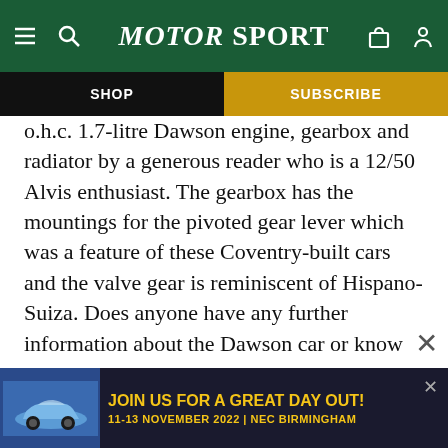MOTOR SPORT
SHOP | SUBSCRIBE
o.h.c. 1.7-litre Dawson engine, gearbox and radiator by a generous reader who is a 12/50 Alvis enthusiast. The gearbox has the mountings for the pivoted gear lever which was a feature of these Coventry-built cars and the valve gear is reminiscent of Hispano-Suiza. Does anyone have any further information about the Dawson car or know whether Mr. Dawson, who built it, is still alive ? A 1926 long-Chassis Jowett 2-seater was bought recently for £60 and flown to Holland by someone who is hoping to build up a 1924 short-chassis version from bits.
[Figure (infographic): Advertisement banner: light blue Porsche 911 car image on left, yellow text reading JOIN US FOR A GREAT DAY OUT! 11-13 NOVEMBER 2022 | NEC BIRMINGHAM on dark navy background]